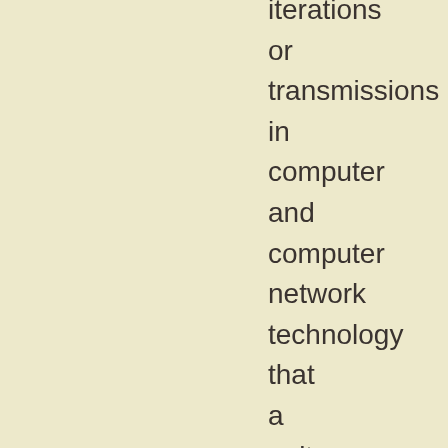iterations or transmissions in computer and computer network technology that a unit of data (in our case a packet) can experience before it is